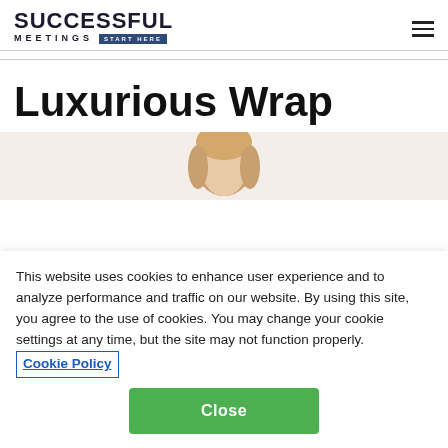[Figure (logo): Successful Meetings logo with 'START HERE' badge and hamburger menu icon]
Luxurious Wrap
[Figure (photo): Partial photo of a person with blonde hair against a beige/peach background]
This website uses cookies to enhance user experience and to analyze performance and traffic on our website. By using this site, you agree to the use of cookies. You may change your cookie settings at any time, but the site may not function properly. Cookie Policy
Close